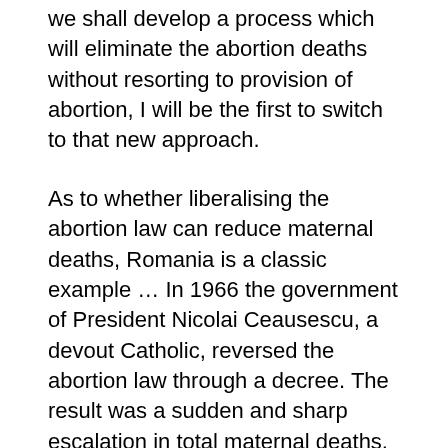we shall develop a process which will eliminate the abortion deaths without resorting to provision of abortion, I will be the first to switch to that new approach.
As to whether liberalising the abortion law can reduce maternal deaths, Romania is a classic example … In 1966 the government of President Nicolai Ceausescu, a devout Catholic, reversed the abortion law through a decree. The result was a sudden and sharp escalation in total maternal deaths, mostly due to unsafe abortions as deaths from childbirth continued to decline… When… President Nicolai Ceausescu was assassinated and safe abortion made legal again, maternal deaths plummeted. Worldwide studies reveal that where abortion is legal and permitted on broad grounds, deaths from complications of unsafe abortion are rare, but where it